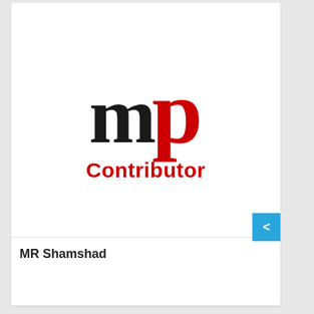[Figure (logo): MP Contributor logo: large black 'm' and red 'p' letters in serif font, with 'Contributor' in red bold text below]
MR Shamshad